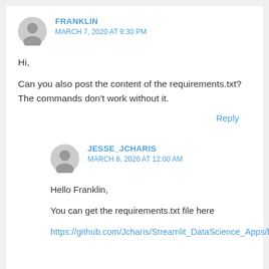FRANKLIN
MARCH 7, 2020 AT 9:30 PM
Hi,
Can you also post the content of the requirements.txt? The commands don't work without it.
Reply
JESSE_JCHARIS
MARCH 8, 2020 AT 12:00 AM
Hello Franklin,
You can get the requirements.txt file here
https://github.com/Jcharis/Streamlit_DataScience_Apps/blob/m